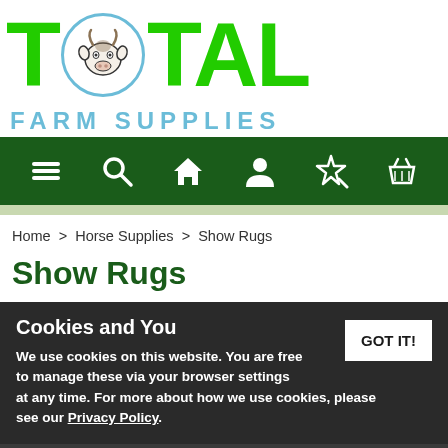[Figure (logo): Total Farm Supplies logo with large green TOTAL text, cow head in circle for the O, and blue FARM SUPPLIES subtitle]
[Figure (infographic): Dark green navigation bar with icons: hamburger menu, search/magnifying glass, home/house, person/account, magic wand/wishlist, shopping basket]
Home > Horse Supplies > Show Rugs
Show Rugs
Cookies and You
We use cookies on this website. You are free to manage these via your browser settings at any time. For more about how we use cookies, please see our Privacy Policy.
GOT IT!
Refine Results: